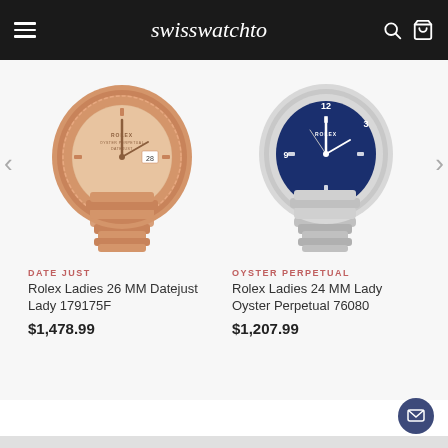swisswatchto
[Figure (photo): Rose gold Rolex Ladies Datejust 26MM watch with champagne dial and president bracelet]
DATE JUST
Rolex Ladies 26 MM Datejust Lady 179175F
$1,478.99
[Figure (photo): Stainless steel Rolex Ladies Oyster Perpetual 24MM watch with blue dial and oyster bracelet]
OYSTER PERPETUAL
Rolex Ladies 24 MM Lady Oyster Perpetual 76080
$1,207.99